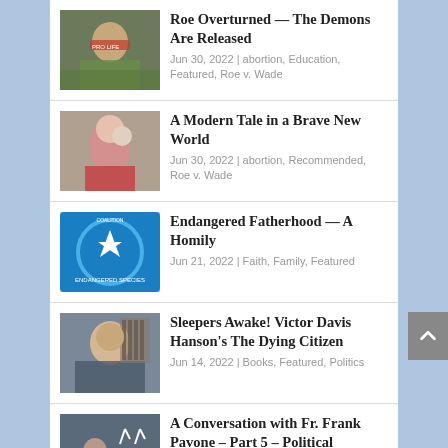[Figure (screenshot): Article listing page with 5 article entries, each with a thumbnail image, title, and metadata including date and categories.]
Roe Overturned — The Demons Are Released
Jun 30, 2022 | abortion, Education, Featured, Roe v. Wade
A Modern Tale in a Brave New World
Jun 30, 2022 | abortion, Recommended, Roe v. Wade
Endangered Fatherhood — A Homily
Jun 21, 2022 | Faith, Family, Featured
Sleepers Awake! Victor Davis Hanson's The Dying Citizen
Jun 14, 2022 | Books, Featured, Politics
A Conversation with Fr. Frank Pavone – Part 5 – Political Advocacy for Life, and Threat of Dismissal
May 30, 2022 | abortion, Bishops, Featured